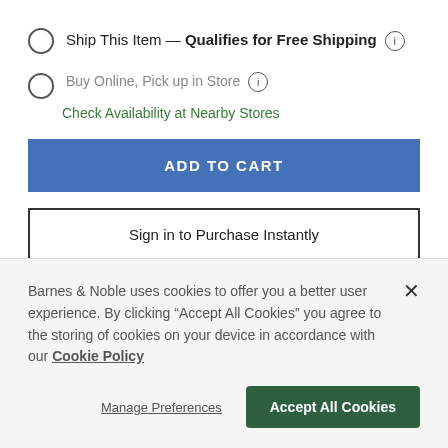Ship This Item — Qualifies for Free Shipping (i)
Buy Online, Pick up in Store (i)
Check Availability at Nearby Stores
ADD TO CART
Sign in to Purchase Instantly
Choose Expedited Shipping at checkout for delivery
Barnes & Noble uses cookies to offer you a better user experience. By clicking "Accept All Cookies" you agree to the storing of cookies on your device in accordance with our Cookie Policy
Manage Preferences
Accept All Cookies